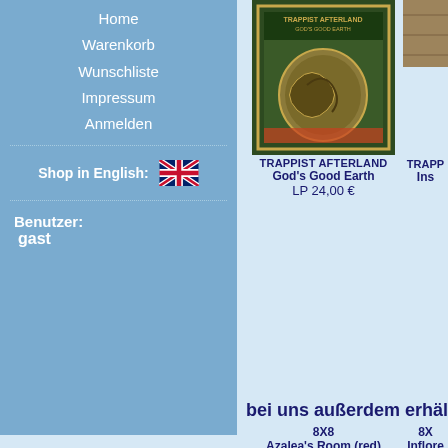Home
Warenkorb
Wunschliste
Impressum
Anmelden
Shop in English:
Benutzer: gast
[Figure (photo): Album cover for Trappist Afterland – God's Good Earth, green and brown artistic design with snake motif on vintage-style LP artwork]
TRAPPIST AFTERLAND God's Good Earth LP 24,00 €
[Figure (photo): Partial album cover, right side cropped, brown/tan colored]
TRAPP Ins
bei uns außerdem erhäl
8X8 Azalea's Room (red)
8X Inflore